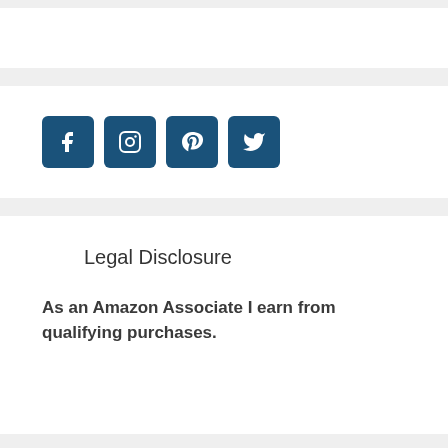[Figure (illustration): Four social media icon buttons (Facebook, Instagram, Pinterest, Twitter) as dark blue rounded square buttons with white icons]
Legal Disclosure
As an Amazon Associate I earn from qualifying purchases.